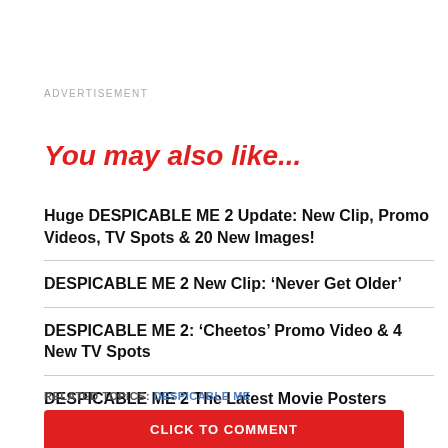ADVERTISEMENT
You may also like...
Huge DESPICABLE ME 2 Update: New Clip, Promo Videos, TV Spots & 20 New Images!
DESPICABLE ME 2 New Clip: ‘Never Get Older’
DESPICABLE ME 2: ‘Cheetos’ Promo Video & 4 New TV Spots
DESPICABLE ME 2 The Latest Movie Posters
RELATED TOPICS: DESPICABLE ME
CLICK TO COMMENT